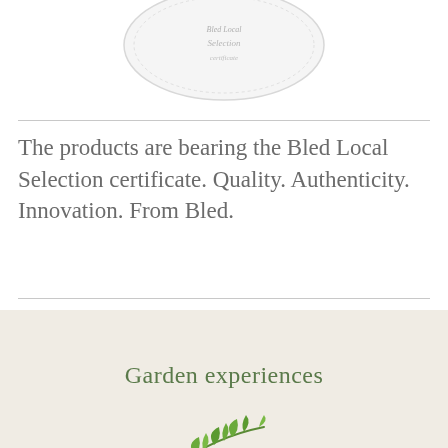[Figure (illustration): Circular seal/certificate logo for Bled Local Selection, white/light grey with cursive text]
The products are bearing the Bled Local Selection certificate. Quality. Authenticity. Innovation. From Bled.
Garden experiences
[Figure (illustration): Green leaf/branch botanical illustration at bottom center]